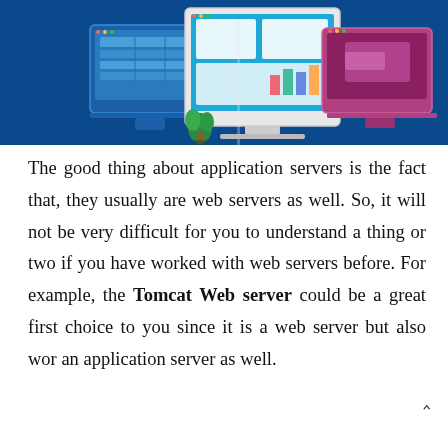[Figure (illustration): Illustration of web/application servers on a dark blue background, showing three computer monitor screens with UI interfaces, one large central monitor and two smaller ones on the sides, with a small decorative plant element.]
The good thing about application servers is the fact that, they usually are web servers as well. So, it will not be very difficult for you to understand a thing or two if you have worked with web servers before. For example, the Tomcat Web server could be a great first choice to you since it is a web server but also wor an application server as well.